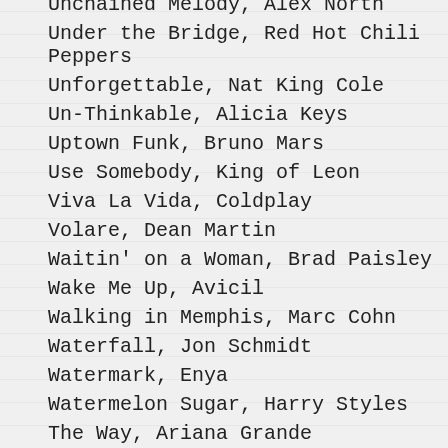Unchained Melody, Alex North
Under the Bridge, Red Hot Chili Peppers
Unforgettable, Nat King Cole
Un-Thinkable, Alicia Keys
Uptown Funk, Bruno Mars
Use Somebody, King of Leon
Viva La Vida, Coldplay
Volare, Dean Martin
Waitin' on a Woman, Brad Paisley
Wake Me Up, Avicil
Walking in Memphis, Marc Cohn
Waterfall, Jon Schmidt
Watermark, Enya
Watermelon Sugar, Harry Styles
The Way, Ariana Grande
We Belong, Pat Benatar
Wedding Dress, Taeyang
Wedding Song, Kenny G
We Found Love, Rihanna
We've Only Just Begun, Carpenters